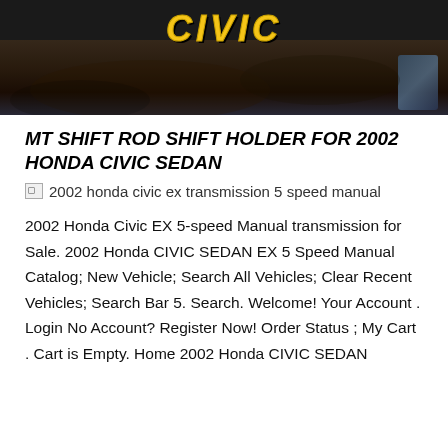[Figure (photo): Dark banner image with stylized yellow italic text 'CIVIC' and a dark rocky/cave background with a blue accent in the corner]
MT SHIFT ROD SHIFT HOLDER FOR 2002 HONDA CIVIC SEDAN
[Figure (photo): Broken image placeholder with alt text: 2002 honda civic ex transmission 5 speed manual]
2002 Honda Civic EX 5-speed Manual transmission for Sale. 2002 Honda CIVIC SEDAN EX 5 Speed Manual Catalog; New Vehicle; Search All Vehicles; Clear Recent Vehicles; Search Bar 5. Search. Welcome! Your Account . Login No Account? Register Now! Order Status ; My Cart . Cart is Empty. Home 2002 Honda CIVIC SEDAN